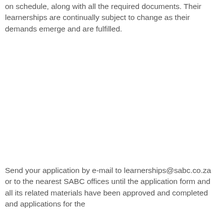on schedule, along with all the required documents. Their learnerships are continually subject to change as their demands emerge and are fulfilled.
Send your application by e-mail to learnerships@sabc.co.za or to the nearest SABC offices until the application form and all its related materials have been approved and completed and applications for the